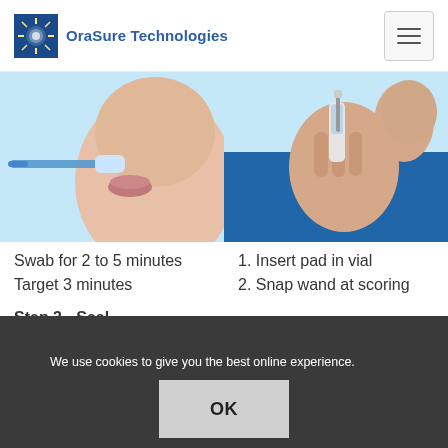OraSure Technologies
[Figure (photo): Close-up of a person using an oral swab collection device near their mouth, light blue background]
[Figure (photo): Close-up of a person inserting a pad into a vial, blue shirt, light blue background]
Swab for 2 to 5 minutes
Target 3 minutes
1. Insert pad in vial
2. Snap wand at scoring
Step 3 - Seal
We use cookies to give you the best online experience. By using our website you agree to our use of cookies in accordance with our privacy policy.